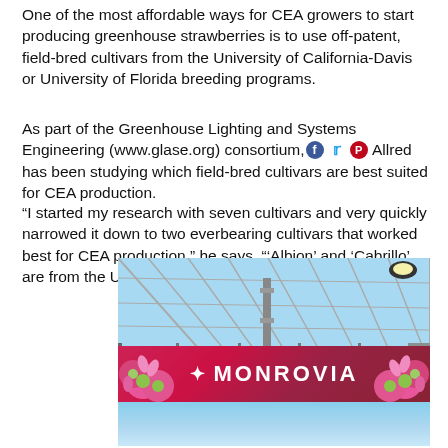One of the most affordable ways for CEA growers to start producing greenhouse strawberries is to use off-patent, field-bred cultivars from the University of California-Davis or University of Florida breeding programs.
As part of the Greenhouse Lighting and Systems Engineering (www.glase.org) consortium, Allred has been studying which field-bred cultivars are best suited for CEA production.
“I started my research with seven cultivars and very quickly narrowed it down to two everbearing cultivars that worked best for CEA production,” he says. “‘Albion’ and ‘Cabrillo’ are from the UC-Davis breeding program.”
[Figure (photo): Greenhouse interior with metal frame structure and glass roof panels, with a Monrovia branded banner featuring pink flowers in the foreground.]